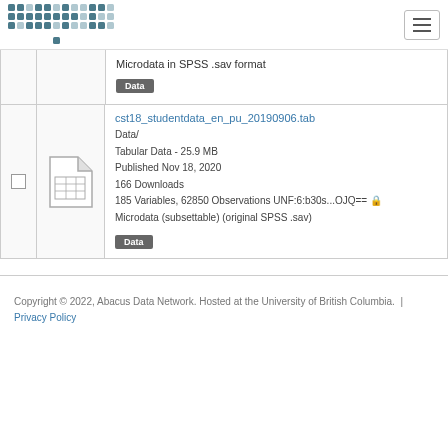abacus [logo]
Microdata in SPSS .sav format
Data [badge]
cst18_studentdata_en_pu_20190906.tab
Data/
Tabular Data - 25.9 MB
Published Nov 18, 2020
166 Downloads
185 Variables, 62850 Observations UNF:6:b30s...OJQ==
Microdata (subsettable) (original SPSS .sav)
Data [badge]
Copyright © 2022, Abacus Data Network. Hosted at the University of British Columbia. | Privacy Policy